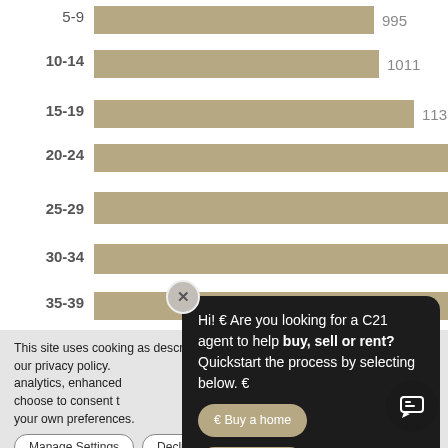[Figure (bar-chart): Age group population chart]
This site uses cookies as described in our privacy policy. operation, analytics, enhanced ou may choose to consent of these or manage your own preferences.
Hi! 🏠 Are you looking for a C21 agent to help buy, sell or rent? Quickstart the process by selecting below. 🏠